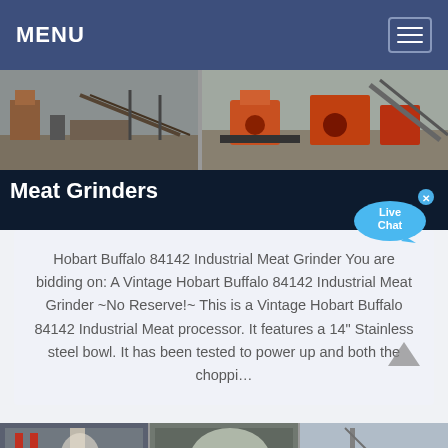MENU
[Figure (photo): Industrial quarry/mining equipment and machinery site, showing conveyor belts, crushers, and excavation equipment]
Meat Grinders
Hobart Buffalo 84142 Industrial Meat Grinder You are bidding on: A Vintage Hobart Buffalo 84142 Industrial Meat Grinder ~No Reserve!~ This is a Vintage Hobart Buffalo 84142 Industrial Meat processor. It features a 14" Stainless steel bowl. It has been tested to power up and both the choppi…
[Figure (photo): Bottom strip showing industrial factory and mining equipment scenes]